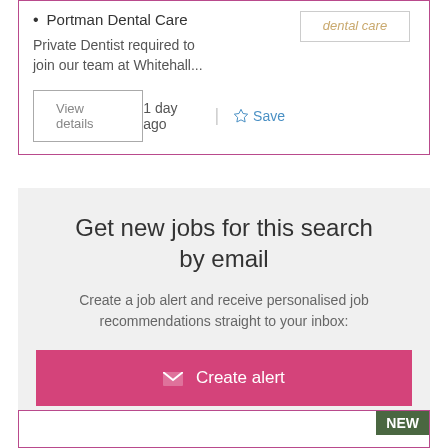Portman Dental Care
Private Dentist required to join our team at Whitehall...
View details
1 day ago
Save
Get new jobs for this search by email
Create a job alert and receive personalised job recommendations straight to your inbox:
✉ Create alert
NEW